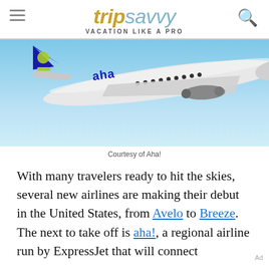tripsavvy VACATION LIKE A PRO
[Figure (photo): An Aha! airline aircraft (blue and white regional jet with yellow-green accents on tail) flying against a light blue sky background.]
Courtesy of Aha!
With many travelers ready to hit the skies, several new airlines are making their debut in the United States, from Avelo to Breeze. The next to take off is aha!, a regional airline run by ExpressJet that will connect